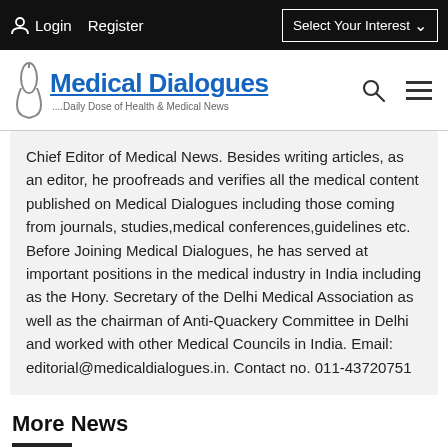Login  Register  Select Your Interest
[Figure (logo): Medical Dialogues logo with stethoscope icon and tagline '....Daily Dose of Health & Medical News']
Chief Editor of Medical News. Besides writing articles, as an editor, he proofreads and verifies all the medical content published on Medical Dialogues including those coming from journals, studies,medical conferences,guidelines etc. Before Joining Medical Dialogues, he has served at important positions in the medical industry in India including as the Hony. Secretary of the Delhi Medical Association as well as the chairman of Anti-Quackery Committee in Delhi and worked with other Medical Councils in India. Email: editorial@medicaldialogues.in. Contact no. 011-43720751
More News